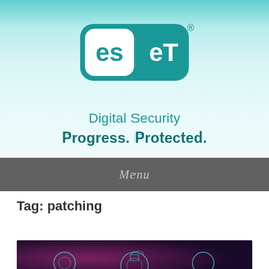[Figure (logo): ESET logo — rounded rectangle with 'es' in white on teal background and 'eT' in teal on white background, with registered trademark symbol]
Digital Security
Progress. Protected.
Menu
Tag: patching
[Figure (photo): Dark purple/magenta background image showing glowing circular tech security icons]